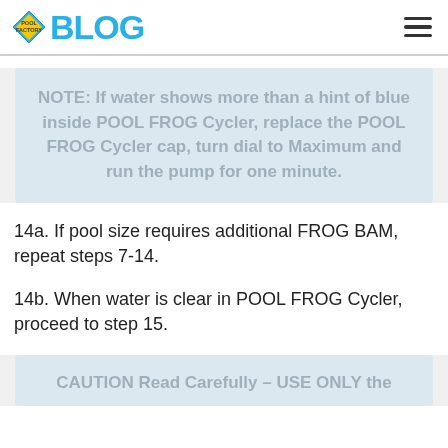BLOG
NOTE: If water shows more than a hint of blue inside POOL FROG Cycler, replace the POOL FROG Cycler cap, turn dial to Maximum and run the pump for one minute.
14a. If pool size requires additional FROG BAM, repeat steps 7-14.
14b. When water is clear in POOL FROG Cycler, proceed to step 15.
CAUTION Read Carefully – USE ONLY the